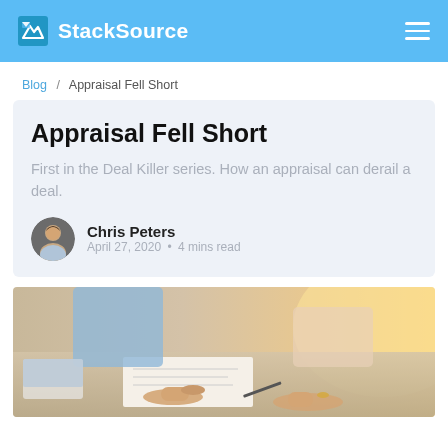StackSource
Blog / Appraisal Fell Short
Appraisal Fell Short
First in the Deal Killer series. How an appraisal can derail a deal.
Chris Peters
April 27, 2020 • 4 mins read
[Figure (photo): Business people working together at a desk, hands pointing at documents, warm office lighting]